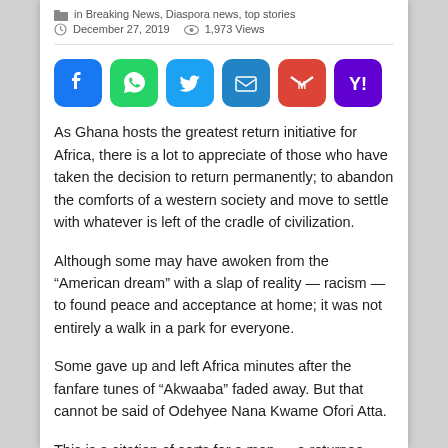in Breaking News, Diaspora news, top stories
December 27, 2019  1,973 Views
[Figure (infographic): Social share buttons: Facebook, WhatsApp, Twitter, Email, Gmail, Yahoo Mail]
As Ghana hosts the greatest return initiative for Africa, there is a lot to appreciate of those who have taken the decision to return permanently; to abandon the comforts of a western society and move to settle with whatever is left of the cradle of civilization.
Although some may have awoken from the “American dream” with a slap of reality — racism — to found peace and acceptance at home; it was not entirely a walk in a park for everyone.
Some gave up and left Africa minutes after the fanfare tunes of “Akwaaba” faded away. But that cannot be said of Odehyee Nana Kwame Ofori Atta.
This is a citation of sorts for a man — a returnee — from the diaspora 20 years ago, who was made